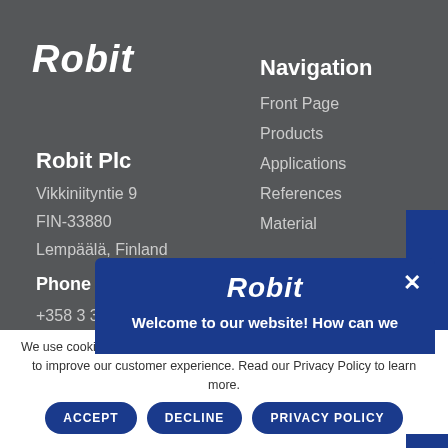[Figure (logo): Robit logo in white italic bold text on dark grey background]
Navigation
Front Page
Products
Applications
References
Material
Robit Plc
Vikkiniityntie 9
FIN-33880
Lempäälä, Finland
Phone
+358 3 3
[Figure (screenshot): Blue popup overlay with Robit logo and welcome message]
We use cookies to collect information about how you use our website and to improve our customer experience. Read our Privacy Policy to learn more.
ACCEPT
DECLINE
PRIVACY POLICY